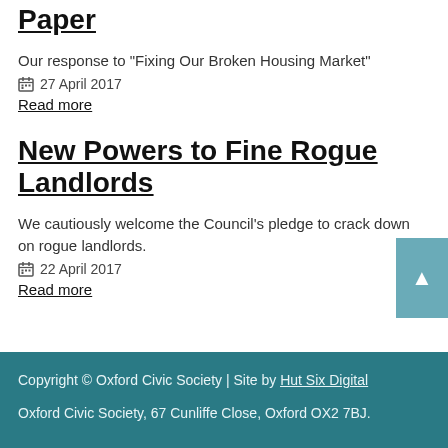Paper
Our response to "Fixing Our Broken Housing Market"
27 April 2017
Read more
New Powers to Fine Rogue Landlords
We cautiously welcome the Council's pledge to crack down on rogue landlords.
22 April 2017
Read more
Copyright © Oxford Civic Society | Site by Hut Six Digital

Oxford Civic Society, 67 Cunliffe Close, Oxford OX2 7BJ.